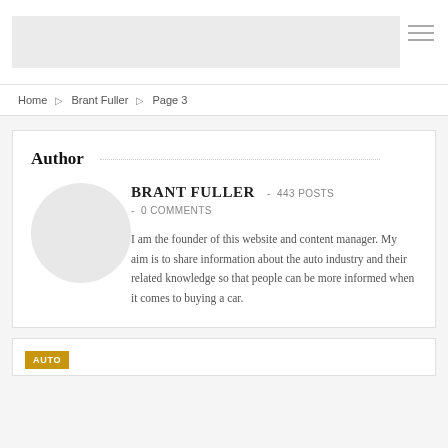[Figure (other): Website header placeholder banner, light gray rectangle]
Home > Brant Fuller > Page 3
Author
[Figure (illustration): Circular avatar placeholder, light gray circle]
BRANT FULLER - 443 POSTS - 0 COMMENTS
I am the founder of this website and content manager. My aim is to share information about the auto industry and their related knowledge so that people can be more informed when it comes to buying a car.
AUTO